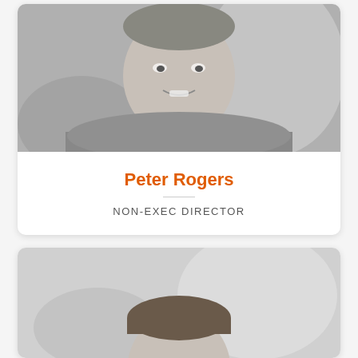[Figure (photo): Black and white portrait photo of Peter Rogers, a man in a sweater with a collared shirt, smiling]
Peter Rogers
NON-EXEC DIRECTOR
[Figure (photo): Black and white partial portrait photo of another person, showing top of head]